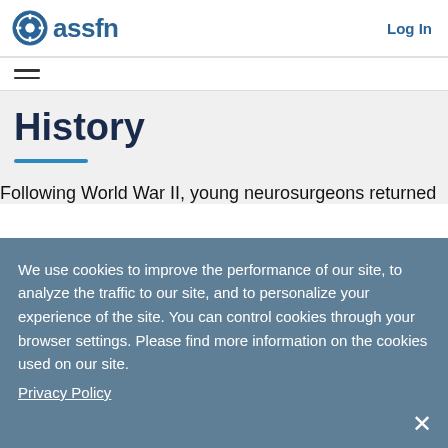assfn | Log In
History
Following World War II, young neurosurgeons returned
We use cookies to improve the performance of our site, to analyze the traffic to our site, and to personalize your experience of the site. You can control cookies through your browser settings. Please find more information on the cookies used on our site. Privacy Policy